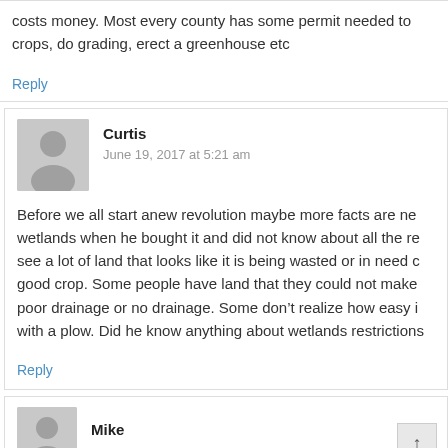costs money. Most every county has some permit needed to crops, do grading, erect a greenhouse etc
Reply
Curtis
June 19, 2017 at 5:21 am
Before we all start anew revolution maybe more facts are ne wetlands when he bought it and did not know about all the re see a lot of land that looks like it is being wasted or in need c good crop. Some people have land that they could not make poor drainage or no drainage. Some don't realize how easy i with a plow. Did he know anything about wetlands restrictions
Reply
Mike